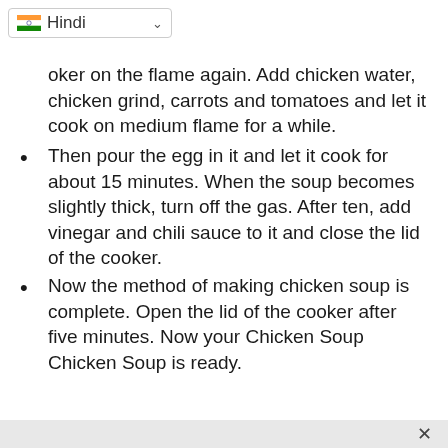Hindi (language selector dropdown)
oker on the flame again. Add chicken water, chicken grind, carrots and tomatoes and let it cook on medium flame for a while.
Then pour the egg in it and let it cook for about 15 minutes. When the soup becomes slightly thick, turn off the gas. After ten, add vinegar and chili sauce to it and close the lid of the cooker.
Now the method of making chicken soup is complete. Open the lid of the cooker after five minutes. Now your Chicken Soup Chicken Soup is ready.